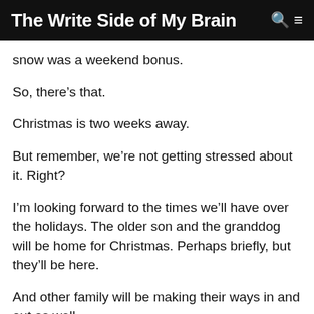The Write Side of My Brain
snow was a weekend bonus.
So, there’s that.
Christmas is two weeks away.
But remember, we’re not getting stressed about it. Right?
I’m looking forward to the times we’ll have over the holidays. The older son and the granddog will be home for Christmas. Perhaps briefly, but they’ll be here.
And other family will be making their ways in and out as well.
I’m sure there will be stress over food preparations and gifts and all of that. But it will get done one way or another.